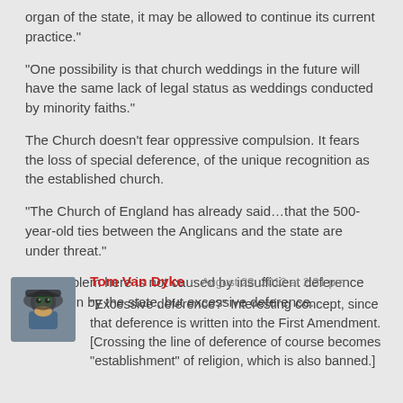organ of the state, it may be allowed to continue its current practice."
"One possibility is that church weddings in the future will have the same lack of legal status as weddings conducted by minority faiths."
The Church doesn’t fear oppressive compulsion. It fears the loss of special deference, of the unique recognition as the established church.
"The Church of England has already said…that the 500-year-old ties between the Anglicans and the state are under threat."
The problem here is not caused by insufficient deference to religion by the state, but excessive deference.
Tom Van Dyke © August 23, 2012 at 2:31 pm
"Excessive deference?" Interesting concept, since that deference is written into the First Amendment. [Crossing the line of deference of course becomes “establishment” of religion, which is also banned.]